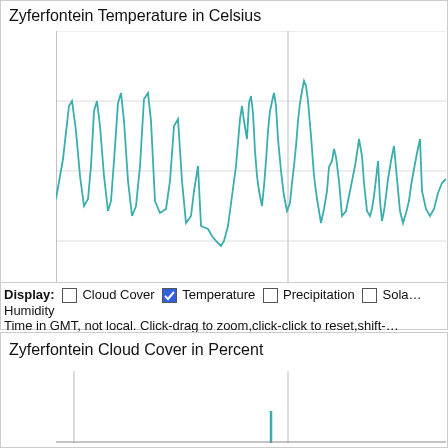Zyferfontein Temperature in Celsius
[Figure (continuous-plot): Line chart showing temperature in Celsius for Zyferfontein from around 28 Aug to beyond 04 Sep. The teal line oscillates roughly daily between lows around 5-12°C and highs of 20-29°C, with peaks near 26-29°C and troughs as low as 5-9°C. A vertical grey line marks 04 Sep.]
Display: ☐ Cloud Cover ☑ Temperature ☐ Precipitation ☐ Sola… Humidity
Time in GMT, not local. Click-drag to zoom,click-click to reset,shift-…
Zyferfontein Cloud Cover in Percent
[Figure (continuous-plot): Partial view of a cloud cover chart for Zyferfontein in percent. Only bottom portion visible with vertical lines and a short teal bar visible near the center.]